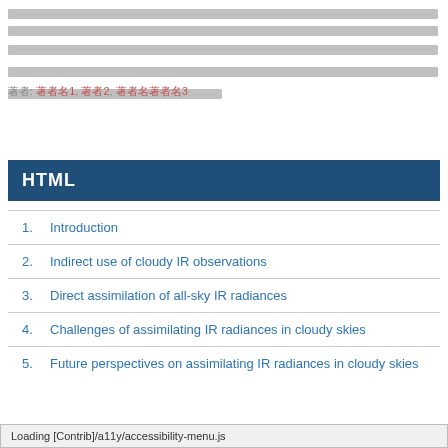[redacted abstract text lines]
著者: 著者名1, 著者2, 著者名著者名3
HTML
1. Introduction
2. Indirect use of cloudy IR observations
3. Direct assimilation of all-sky IR radiances
4. Challenges of assimilating IR radiances in cloudy skies
5. Future perspectives on assimilating IR radiances in cloudy skies
Loading [Contrib]/a11y/accessibility-menu.js